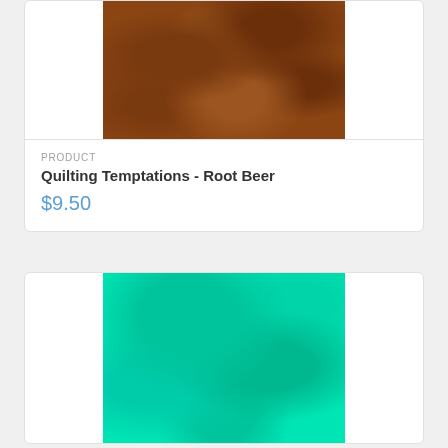[Figure (photo): Brown quilting fabric with swirl/scroll pattern texture, warm chocolate brown color]
PRODUCT
Quilting Temptations - Root Beer
$9.50
[Figure (photo): Bright turquoise/mint green quilting fabric with mottled cloud-like texture pattern]